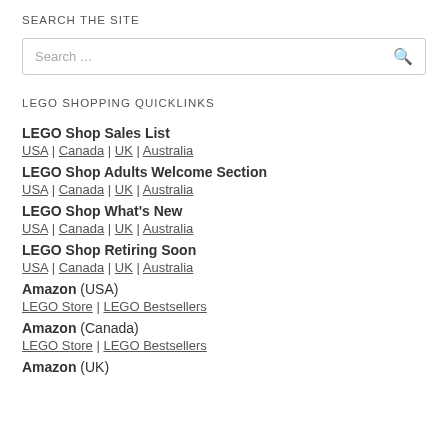SEARCH THE SITE
[Figure (other): Search input box with placeholder 'Search ...' and a search icon]
LEGO SHOPPING QUICKLINKS
LEGO Shop Sales List
USA | Canada | UK | Australia
LEGO Shop Adults Welcome Section
USA | Canada | UK | Australia
LEGO Shop What's New
USA | Canada | UK | Australia
LEGO Shop Retiring Soon
USA | Canada | UK | Australia
Amazon (USA)
LEGO Store | LEGO Bestsellers
Amazon (Canada)
LEGO Store | LEGO Bestsellers
Amazon (UK)